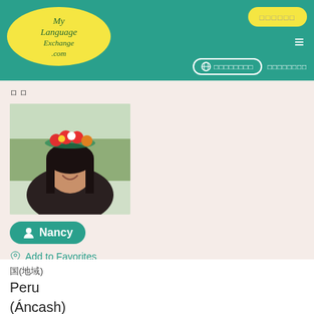MyLanguageExchange.com header with login, hamburger menu, globe and nav links
ロ ロ
[Figure (photo): Young woman wearing a floral crown with red, yellow and white flowers, smiling, with trees in background]
Nancy
Add to Favorites
May 9, 2022
国(地域)
Peru
(Áncash)
母国 語
□□□□□